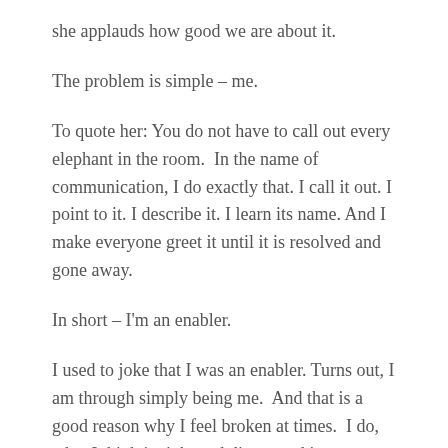she applauds how good we are about it.
The problem is simple – me.
To quote her: You do not have to call out every elephant in the room.  In the name of communication, I do exactly that. I call it out. I point to it. I describe it. I learn its name. And I make everyone greet it until it is resolved and gone away.
In short – I'm an enabler.
I used to joke that I was an enabler. Turns out, I am through simply being me.  And that is a good reason why I feel broken at times.  I do, what I think is right and direct, and it backfires.  Why? Because if I do it, no one else does.  It is my role.  It is who I have become in